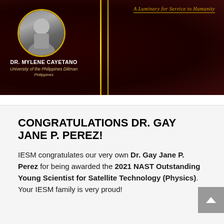[Figure (photo): Dark red/maroon award graphic with hexagonal pattern background, gold vertical lines on the right side, circular portrait photo of Dr. Mylene Cayetano in upper left, italic gold text 'A Luminary for Service to Humanity' in upper right with gold underline]
DR. MYLENE CAYETANO
University of the Philippines Diliman
Philippines
CONGRATULATIONS DR. GAY JANE P. PEREZ!
IESM congratulates our very own Dr. Gay Jane P. Perez for being awarded the 2021 NAST Outstanding Young Scientist for Satellite Technology (Physics). Your IESM family is very proud!